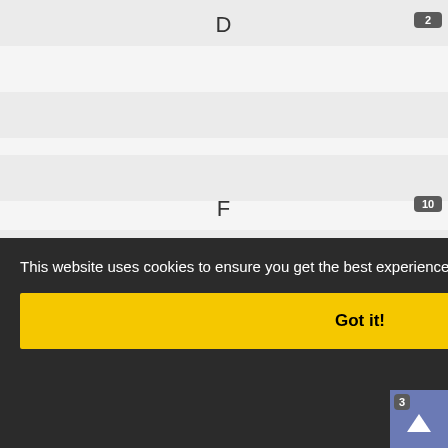D
E
F
G
H
I
J
K
L
M
N
O
This website uses cookies to ensure you get the best experience on our website.
Got it!